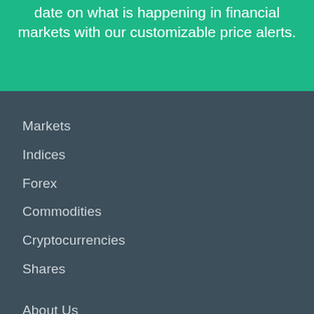date on what is happening in financial markets with our customizable price alerts.
Markets
Indices
Forex
Commodities
Cryptocurrencies
Shares
About Us
Contact Us
Login